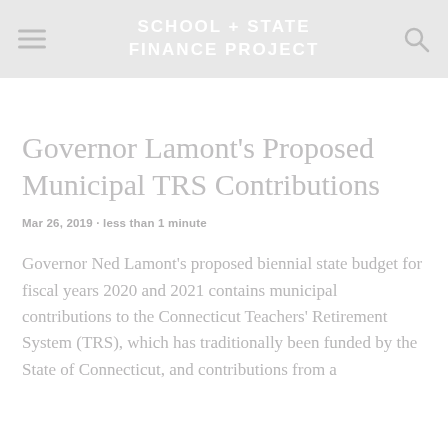School + State Finance Project
Governor Lamont's Proposed Municipal TRS Contributions
Mar 26, 2019 · less than 1 minute
Governor Ned Lamont's proposed biennial state budget for fiscal years 2020 and 2021 contains municipal contributions to the Connecticut Teachers' Retirement System (TRS), which has traditionally been funded by the State of Connecticut, and contributions from a